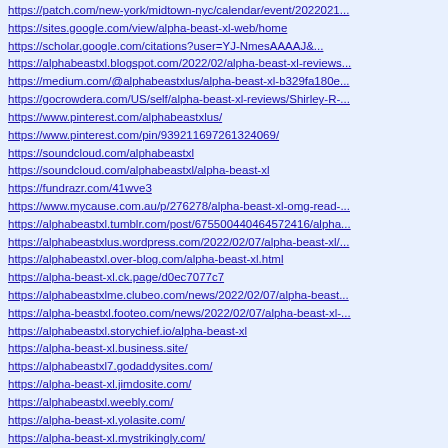https://patch.com/new-york/midtown-nyc/calendar/event/2022021...
https://sites.google.com/view/alpha-beast-xl-web/home
https://scholar.google.com/citations?user=YJ-NmesAAAAJ&amp;...
https://alphabeastxl.blogspot.com/2022/02/alpha-beast-xl-reviews...
https://medium.com/@alphabeastxlus/alpha-beast-xl-b329fa180e...
https://gocrowdera.com/US/self/alpha-beast-xl-reviews/Shirley-R-...
https://www.pinterest.com/alphabeastxlus/
https://www.pinterest.com/pin/939211697261324069/
https://soundcloud.com/alphabeastxl
https://soundcloud.com/alphabeastxl/alpha-beast-xl
https://fundrazr.com/41wve3
https://www.mycause.com.au/p/276278/alpha-beast-xl-omg-read-...
https://alphabeastxl.tumblr.com/post/675500440464572416/alpha...
https://alphabeastxlus.wordpress.com/2022/02/07/alpha-beast-xl/...
https://alphabeastxl.over-blog.com/alpha-beast-xl.html
https://alpha-beast-xl.ck.page/d0ec7077c7
https://alphabeastxlme.clubeo.com/news/2022/02/07/alpha-beast...
https://alpha-beastxl.footeo.com/news/2022/02/07/alpha-beast-xl-...
https://alphabeastxl.storychief.io/alpha-beast-xl
https://alpha-beast-xl.business.site/
https://alphabeastxl7.godaddysites.com/
https://alpha-beast-xl.jimdosite.com/
https://alphabeastxl.weebly.com/
https://alpha-beast-xl.yolasite.com/
https://alpha-beast-xl.mystrikingly.com/
https://alpha-beast-xl-97.webselfsite.net/
https://alpha-beast-xl.my-free.website/
https://alpha-beast-xl.multiscreensite.com/
https://alpha-beast-xl.sitey.me/
http://alphabeastxl.website2.me/
https://alpha-beast-xl-reviews.peatix.com/
https://alpha-beast-xl.1msite.eu/
https://alpha-beast-xl.webflow.io/alpha-beast-xl
https://alphabeastxl.bcz.com/2022/02/08/alpha-beast-xl/
https://alphabeastxl.doodlekit.com/
https://alphabeastxlus.simplesite.com/
https://62020c33aa4f5.site123.me/